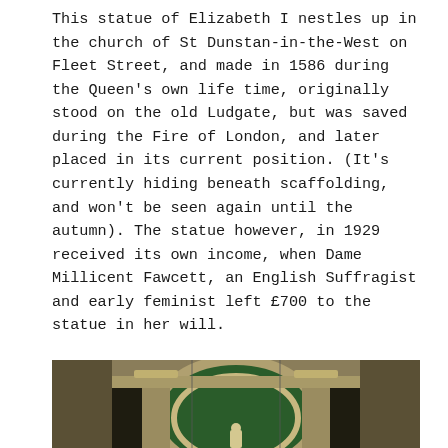This statue of Elizabeth I nestles up in the church of St Dunstan-in-the-West on Fleet Street, and made in 1586 during the Queen's own life time, originally stood on the old Ludgate, but was saved during the Fire of London, and later placed in its current position. (It's currently hiding beneath scaffolding, and won't be seen again until the autumn). The statue however, in 1929 received its own income, when Dame Millicent Fawcett, an English Suffragist and early feminist left £700 to the statue in her will.
[Figure (photo): Interior architectural photograph of St Dunstan-in-the-West church, showing ornate stone arched niche with green backing, classical columns, carved decorative stonework, and a small statue visible at the bottom center.]